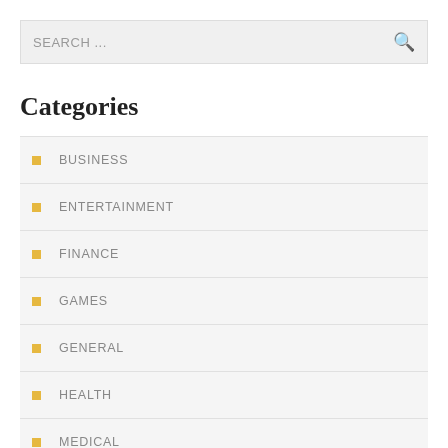SEARCH ...
Categories
BUSINESS
ENTERTAINMENT
FINANCE
GAMES
GENERAL
HEALTH
MEDICAL
REAL-ESTATE